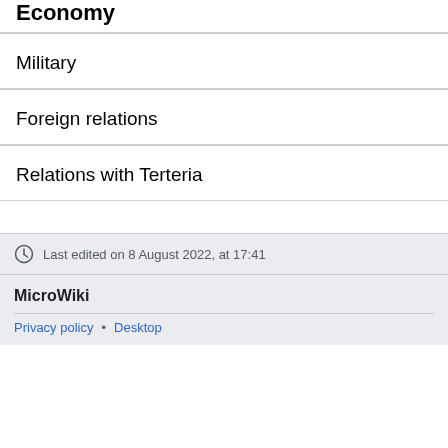Economy
Military
Foreign relations
Relations with Terteria
Last edited on 8 August 2022, at 17:41
MicroWiki
Privacy policy • Desktop